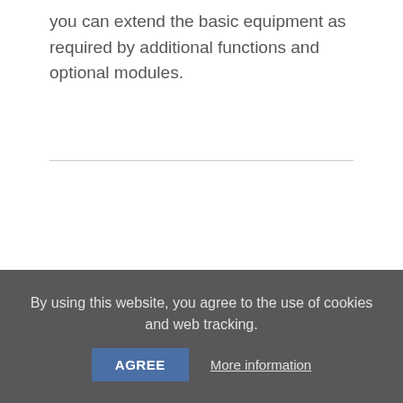you can extend the basic equipment as required by additional functions and optional modules.
Microsoft
As a Microsoft Partner, IDM relies on Microsoft hardware and software. As a result, the company offers its
By using this website, you agree to the use of cookies and web tracking.